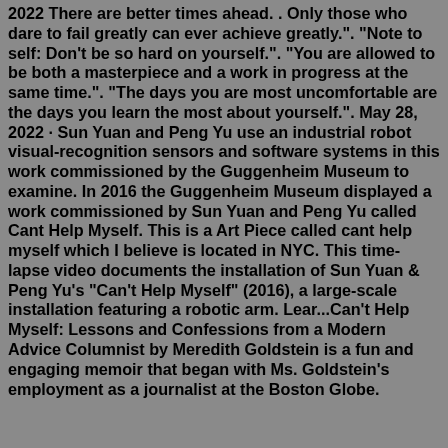2022 There are better times ahead. . Only those who dare to fail greatly can ever achieve greatly.". "Note to self: Don't be so hard on yourself.". "You are allowed to be both a masterpiece and a work in progress at the same time.". "The days you are most uncomfortable are the days you learn the most about yourself.". May 28, 2022 · Sun Yuan and Peng Yu use an industrial robot visual-recognition sensors and software systems in this work commissioned by the Guggenheim Museum to examine. In 2016 the Guggenheim Museum displayed a work commissioned by Sun Yuan and Peng Yu called Cant Help Myself. This is a Art Piece called cant help myself which I believe is located in NYC. This time-lapse video documents the installation of Sun Yuan & Peng Yu's "Can't Help Myself" (2016), a large-scale installation featuring a robotic arm. Lear...Can't Help Myself: Lessons and Confessions from a Modern Advice Columnist by Meredith Goldstein is a fun and engaging memoir that began with Ms. Goldstein's employment as a journalist at the Boston Globe.